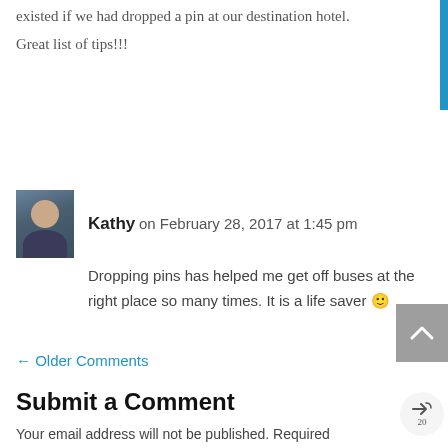existed if we had dropped a pin at our destination hotel.

Great list of tips!!!
Kathy on February 28, 2017 at 1:45 pm
Dropping pins has helped me get off buses at the right place so many times. It is a life saver 🙂
← Older Comments
Submit a Comment
Your email address will not be published. Required